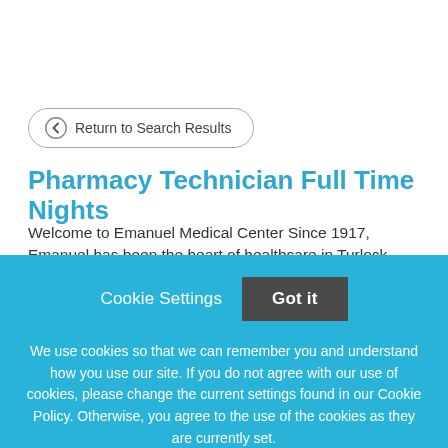← Return to Search Results
Pharmacy Technician Full Time Nights
Welcome to Emanuel Medical Center Since 1917, Emanuel has been the heart of healthcare in Turlock, California,
Cookie Settings
Got it
We use cookies so that we can remember you and understand how you use our site. If you do not agree with our use of cookies, please change the current settings found in our Cookie Policy. Otherwise, you agree to the use of the cookies as they are currently set.